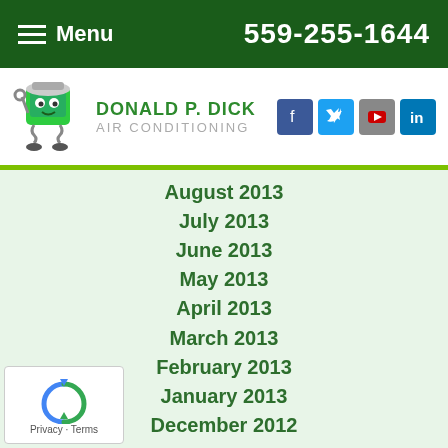Menu   559-255-1644
[Figure (logo): Donald P. Dick Air Conditioning logo with mascot character and social media icons (Facebook, Twitter, YouTube, LinkedIn)]
August 2013
July 2013
June 2013
May 2013
April 2013
March 2013
February 2013
January 2013
December 2012